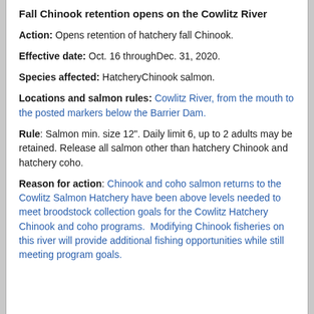Fall Chinook retention opens on the Cowlitz River
Action: Opens retention of hatchery fall Chinook.
Effective date: Oct. 16 throughDec. 31, 2020.
Species affected: HatcheryChinook salmon.
Locations and salmon rules: Cowlitz River, from the mouth to the posted markers below the Barrier Dam.
Rule: Salmon min. size 12". Daily limit 6, up to 2 adults may be retained. Release all salmon other than hatchery Chinook and hatchery coho.
Reason for action: Chinook and coho salmon returns to the Cowlitz Salmon Hatchery have been above levels needed to meet broodstock collection goals for the Cowlitz Hatchery Chinook and coho programs. Modifying Chinook fisheries on this river will provide additional fishing opportunities while still meeting program goals.